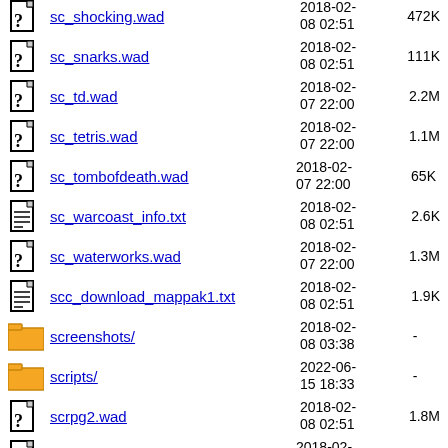sc_shocking.wad  2018-02-08 02:51  472K
sc_snarks.wad  2018-02-08 02:51  111K
sc_td.wad  2018-02-07 22:00  2.2M
sc_tetris.wad  2018-02-07 22:00  1.1M
sc_tombofdeath.wad  2018-02-07 22:00  65K
sc_warcoast_info.txt  2018-02-08 02:51  2.6K
sc_waterworks.wad  2018-02-07 22:00  1.3M
scc_download_mappak1.txt  2018-02-08 02:51  1.9K
screenshots/  2018-02-08 03:38  -
scripts/  2022-06-15 18:33  -
scrpg2.wad  2018-02-08 02:51  1.8M
secretelemdemon.wad  2018-02-08 02:51  87K